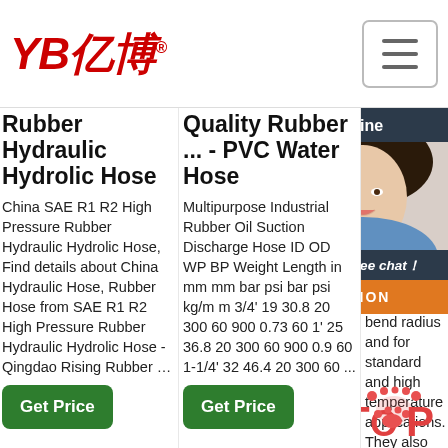YB亿博® — Navigation bar with hamburger menu
Rubber Hydraulic Hydrolic Hose
China SAE R1 R2 High Pressure Rubber Hydraulic Hydrolic Hose, Find details about China Hydraulic Hose, Rubber Hose from SAE R1 R2 High Pressure Rubber Hydraulic Hydrolic Hose - Qingdao Rising Rubber …
Get Price
Quality Rubber ... - PVC Water Hose
Multipurpose Industrial Rubber Oil Suction Discharge Hose ID OD WP BP Weight Length in mm mm bar psi bar psi kg/m m 3/4' 19 30.8 20 300 60 900 0.73 60 1' 25 36.8 20 300 60 900 0.9 60 1-1/4' 32 46.4 20 300 60 ...
Get Price
range of suction hose extra and inclu suc solu mee den vari app hos exc standards for minimum bend radius and for standard and high temperature applications. They also have he capability to operate
[Figure (photo): 24/7 Online chat widget with customer service representative photo, 'Click here for free chat!' text, and orange QUOTATION button]
[Figure (logo): TOP logo with paw print dots in red/orange]